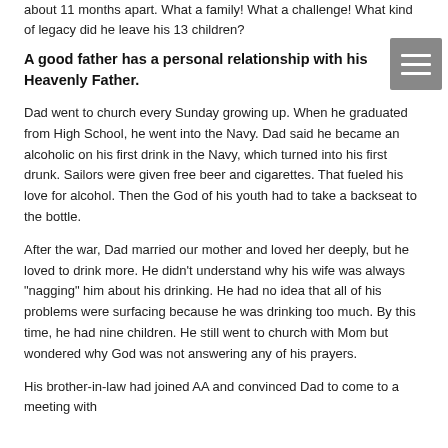about 11 months apart. What a family! What a challenge! What kind of legacy did he leave his 13 children?
A good father has a personal relationship with his Heavenly Father.
Dad went to church every Sunday growing up. When he graduated from High School, he went into the Navy. Dad said he became an alcoholic on his first drink in the Navy, which turned into his first drunk. Sailors were given free beer and cigarettes. That fueled his love for alcohol. Then the God of his youth had to take a backseat to the bottle.
After the war, Dad married our mother and loved her deeply, but he loved to drink more. He didn't understand why his wife was always "nagging" him about his drinking. He had no idea that all of his problems were surfacing because he was drinking too much. By this time, he had nine children. He still went to church with Mom but wondered why God was not answering any of his prayers.
His brother-in-law had joined AA and convinced Dad to come to a meeting with him. Dad said that did it. He joined AA and they all went to church with him.